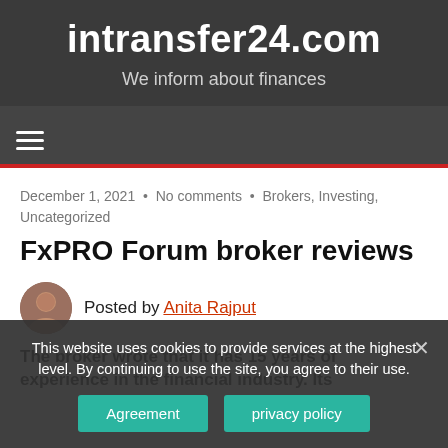intransfer24.com
We inform about finances
[Figure (other): Hamburger navigation menu icon (three horizontal lines)]
December 1, 2021 • No comments • Brokers, Investing, Uncategorized
FxPRO Forum broker reviews
Posted by Anita Rajput
The broker wrote that it has 15 years of experience in the financial industry. Its
This website uses cookies to provide services at the highest level. By continuing to use the site, you agree to their use.